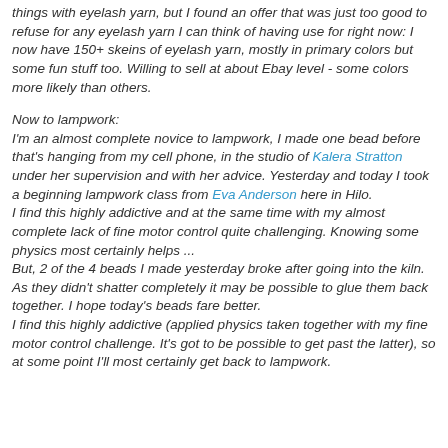things with eyelash yarn, but I found an offer that was just too good to refuse for any eyelash yarn I can think of having use for right now: I now have 150+ skeins of eyelash yarn, mostly in primary colors but some fun stuff too. Willing to sell at about Ebay level - some colors more likely than others.
Now to lampwork:
I'm an almost complete novice to lampwork, I made one bead before that's hanging from my cell phone, in the studio of Kalera Stratton under her supervision and with her advice. Yesterday and today I took a beginning lampwork class from Eva Anderson here in Hilo.
I find this highly addictive and at the same time with my almost complete lack of fine motor control quite challenging. Knowing some physics most certainly helps ...
But, 2 of the 4 beads I made yesterday broke after going into the kiln. As they didn't shatter completely it may be possible to glue them back together. I hope today's beads fare better.
I find this highly addictive (applied physics taken together with my fine motor control challenge. It's got to be possible to get past the latter), so at some point I'll most certainly get back to lampwork.